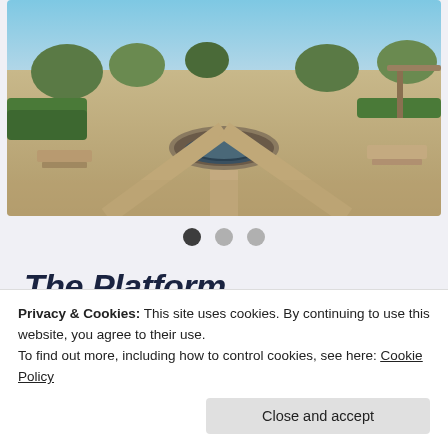[Figure (photo): Aerial/wide-angle photograph of an outdoor park or plaza featuring a circular stone fountain in the center, surrounded by green hedges, trees, benches, and paved walkways under clear blue sky.]
The Platform Where WordPress Works Best
Privacy & Cookies: This site uses cookies. By continuing to use this website, you agree to their use.
To find out more, including how to control cookies, see here: Cookie Policy
Close and accept